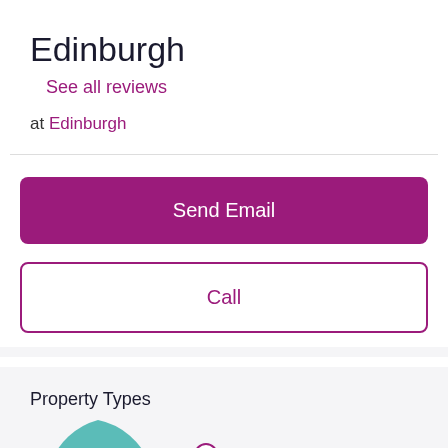Edinburgh
See all reviews
at Edinburgh
Send Email
Call
Property Types
[Figure (pie-chart): Partial pie chart showing property types; 71% Flat visible at bottom of page]